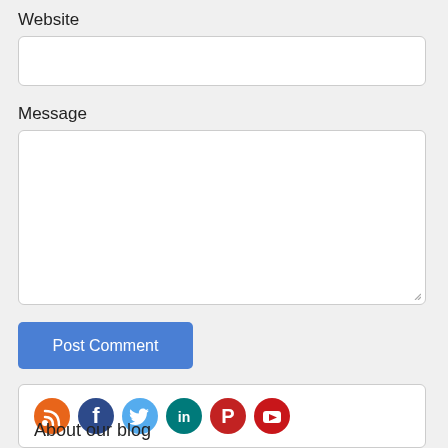Website
[Figure (screenshot): Empty website URL input field, white background with rounded border]
Message
[Figure (screenshot): Empty message textarea, white background with rounded border and resize handle]
[Figure (screenshot): Post Comment button, blue rounded rectangle with white text]
[Figure (screenshot): Social media icons row: RSS (orange), Facebook (dark blue), Twitter (light blue), LinkedIn (teal), Pinterest (red), YouTube (red), inside a rounded white box]
About our blog